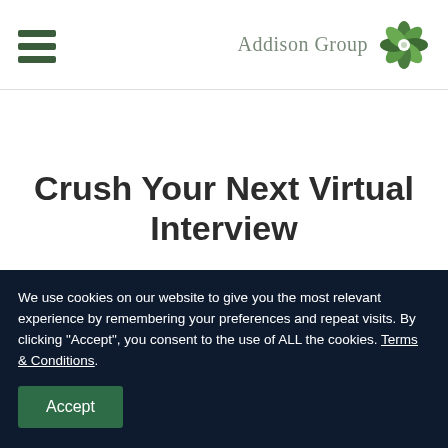Addison Group
Crush Your Next Virtual Interview
RECRUITING
We use cookies on our website to give you the most relevant experience by remembering your preferences and repeat visits. By clicking “Accept”, you consent to the use of ALL the cookies. Terms & Conditions.